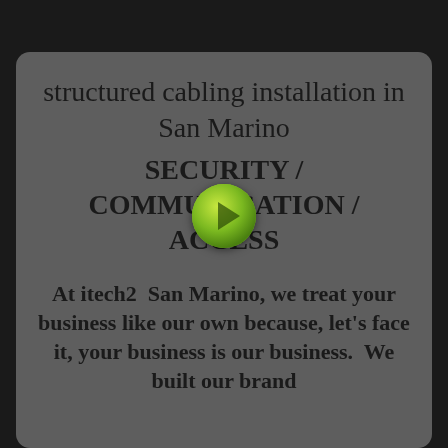structured cabling installation in San Marino
SECURITY / COMMUNICATION / ACCESS
At itech2  San Marino, we treat your business like our own because, let's face it, your business is our business.  We built our brand